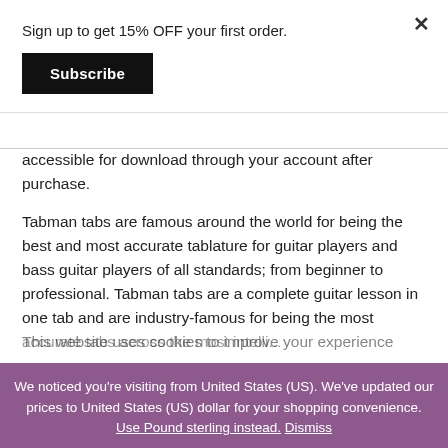Sign up to get 15% OFF your first order.
Subscribe
accessible for download through your account after purchase.
Tabman tabs are famous around the world for being the best and most accurate tablature for guitar players and bass guitar players of all standards; from beginner to professional. Tabman tabs are a complete guitar lesson in one tab and are industry-famous for being the most
This website uses cookies to improve your experience
We noticed you're visiting from United States (US). We've updated our prices to United States (US) dollar for your shopping convenience. Use Pound sterling instead. Dismiss